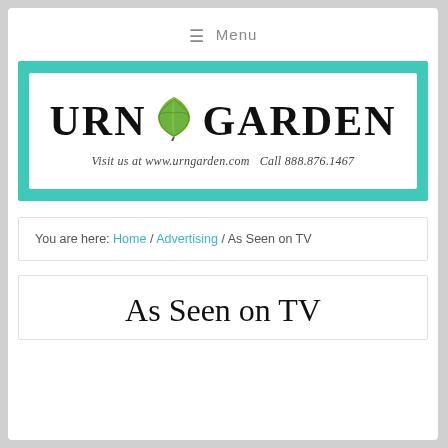≡  Menu
[Figure (logo): Urn Garden logo on teal background. White rectangle contains 'URN GARDEN' in large serif text with a green maple leaf icon between the words. Subtitle: 'Visit us at www.urngarden.com  Call 888.876.1467']
You are here: Home / Advertising / As Seen on TV
As Seen on TV